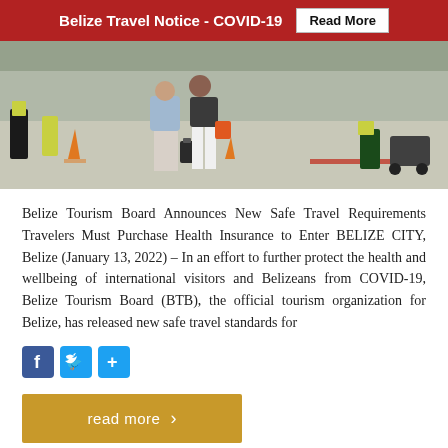Belize Travel Notice - COVID-19  Read More
[Figure (photo): People walking on airport tarmac with luggage, traffic cones visible, airport ground crew in background]
Belize Tourism Board Announces New Safe Travel Requirements Travelers Must Purchase Health Insurance to Enter BELIZE CITY, Belize (January 13, 2022) – In an effort to further protect the health and wellbeing of international visitors and Belizeans from COVID-19, Belize Tourism Board (BTB), the official tourism organization for Belize, has released new safe travel standards for
[Figure (other): Social share icons: Facebook, Twitter, Share]
read more >